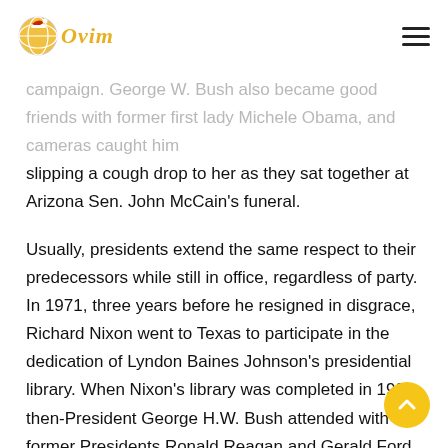Ovim (logo)
campaign. George W. Bush also became good friends with former first lady Michele Obama, and cameras caught him slipping a cough drop to her as they sat together at Arizona Sen. John McCain's funeral.
Usually, presidents extend the same respect to their predecessors while still in office, regardless of party. In 1971, three years before he resigned in disgrace, Richard Nixon went to Texas to participate in the dedication of Lyndon Baines Johnson's presidential library. When Nixon's library was completed in 1990, then-President George H.W. Bush attended with former Presidents Ronald Reagan and Gerald Ford.
Trump's break with tradition began even before his presidency did. After his election win in November 2016, Obama hosted Trump at the White House promising to “do everything we can